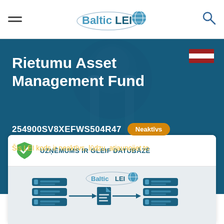BalticLEI
Rietumu Asset Management Fund
254900SV8XEFWS504R47   Neaktīvs
Šis LEI kods ir neaktīvs, lūdzu, atjaunojiet to
UZŅĒMUMS IR GLEIF DATUBĀZĒ
[Figure (infographic): BalticLEI data flow diagram showing server/database icons connected by arrows through a document icon, with the BalticLEI logo above]